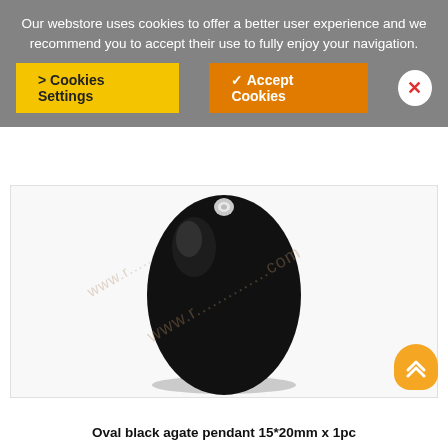Our webstore uses cookies to offer a better user experience and we recommend you to accept their use to fully enjoy your navigation.
> Cookies Settings
✔ Accept Cookies
[Figure (photo): Oval black agate pendant gemstone with a small hole at the top, shown on a white background. The stone is smooth, shiny, and jet black in color, oval shaped approximately 15x20mm.]
Oval black agate pendant 15*20mm x 1pc